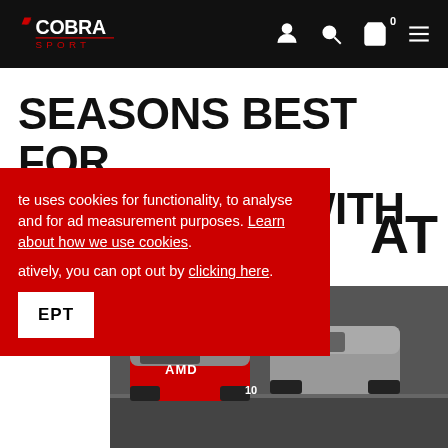Cobra Sport - navigation header with logo and icons
SEASONS BEST FOR AMDTUNING WITH ...AT
te uses cookies for functionality, to analyse and for ad measurement purposes. Learn about how we use cookies. atively, you can opt out by clicking here.
EPT (Accept button)
[Figure (photo): Racing cars on a track, red and grey livery, viewed from behind/side angle]